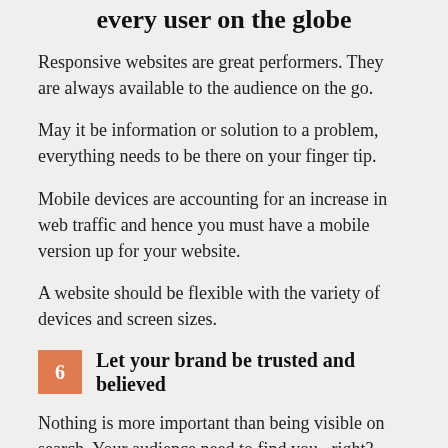every user on the globe
Responsive websites are great performers. They are always available to the audience on the go.
May it be information or solution to a problem, everything needs to be there on your finger tip.
Mobile devices are accounting for an increase in web traffic and hence you must have a mobile version up for your website.
A website should be flexible with the variety of devices and screen sizes.
6  Let your brand be trusted and believed
Nothing is more important than being visible on search. Your audience need to find you...right?